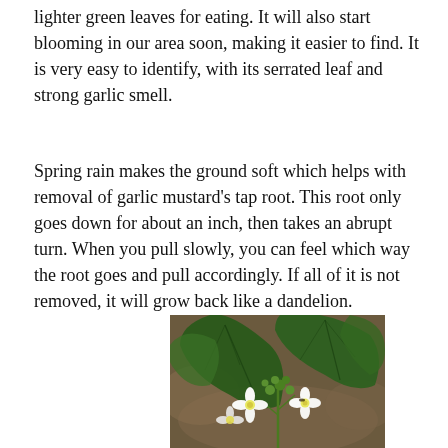lighter green leaves for eating. It will also start blooming in our area soon, making it easier to find. It is very easy to identify, with its serrated leaf and strong garlic smell.
Spring rain makes the ground soft which helps with removal of garlic mustard's tap root. This root only goes down for about an inch, then takes an abrupt turn. When you pull slowly, you can feel which way the root goes and pull accordingly. If all of it is not removed, it will grow back like a dandelion.
[Figure (photo): Close-up photograph of garlic mustard plant showing large dark green serrated leaves and small white flowers with four petals and green buds, against a blurred earthy background.]